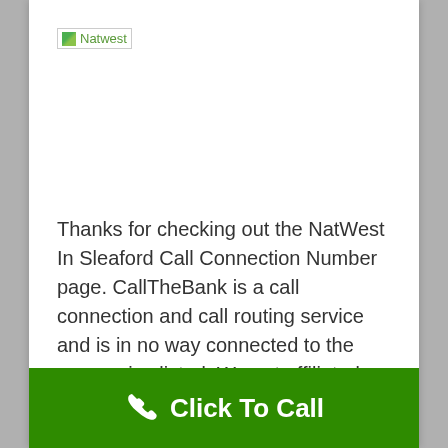[Figure (logo): NatWest logo placeholder image with text 'Natwest']
Thanks for checking out the NatWest In Sleaford Call Connection Number page. CallTheBank is a call connection and call routing service and is in no way connected to the companies listed. We not affiliated with any of the businesses listed inside, we forward all calls to the hard to find official phone numbers for the companies listed. The official phone number for the companies listed may be found on the official websites
[Figure (infographic): Green call-to-action bar at bottom with phone handset icon and 'Click To Call' text in white]